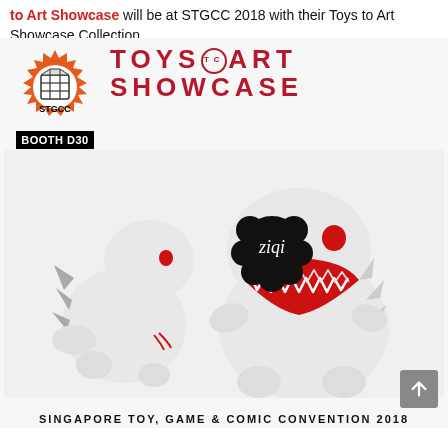to Art Showcase will be at STGCC 2018 with their Toys to Art Showcase Collection.
[Figure (illustration): Promotional poster for Toys to Art Showcase at STGCC Booth D30. Features STGCC sunburst logo with Rubik's cube on top-left, large red stencil text 'TOYS TO ART SHOWCASE' on top-right, two white Godzilla-like monster toy figurines (one showing back with grey spines, one facing front with open red mouth and red eyes, with black 'ziqi' speech bubble), and bottom text 'SINGAPORE TOY, GAME & COMIC CONVENTION 2018'.]